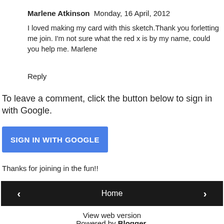Marlene Atkinson  Monday, 16 April, 2012
I loved making my card with this sketch.Thank you forletting me join. I'm not sure what the red x is by my name, could you help me. Marlene
Reply
To leave a comment, click the button below to sign in with Google.
[Figure (other): Blue button labeled SIGN IN WITH GOOGLE]
Thanks for joining in the fun!!
[Figure (other): Navigation bar with left arrow, Home button, and right arrow]
View web version
Powered by Blogger.